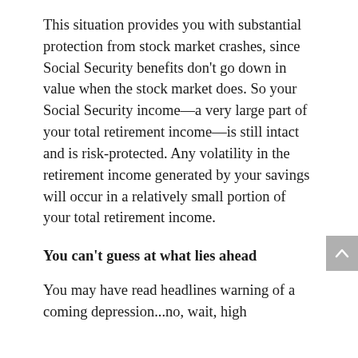This situation provides you with substantial protection from stock market crashes, since Social Security benefits don't go down in value when the stock market does. So your Social Security income—a very large part of your total retirement income—is still intact and is risk-protected. Any volatility in the retirement income generated by your savings will occur in a relatively small portion of your total retirement income.
You can't guess at what lies ahead
You may have read headlines warning of a coming depression...no, wait, high